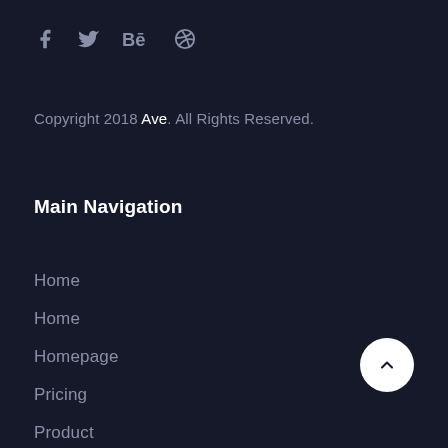[Figure (other): Social media icons: Facebook (f), Twitter (bird), Behance (Bē), Dribbble (circle with dots)]
Copyright 2018 Ave. All Rights Reserved.
Main Navigation
Home
Home
Homepage
Pricing
Product
Product
Our Portfolio
Content Management
Tracking